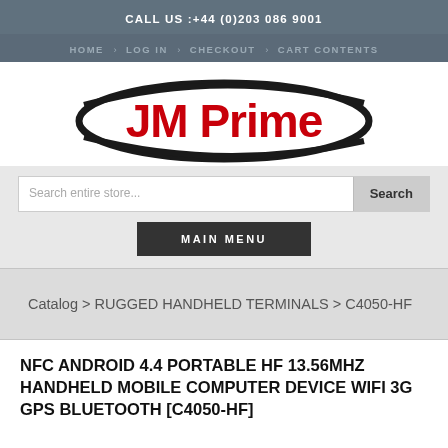CALL US :+44 (0)203 086 9001
HOME > LOG IN > CHECKOUT > CART CONTENTS
[Figure (logo): JM Prime logo — red bold text 'JM Prime' inside a black oval/ellipse swoosh shape]
Search entire store...
Search
MAIN MENU
Catalog > RUGGED HANDHELD TERMINALS > C4050-HF
NFC ANDROID 4.4 PORTABLE HF 13.56MHZ HANDHELD MOBILE COMPUTER DEVICE WIFI 3G GPS BLUETOOTH [C4050-HF]